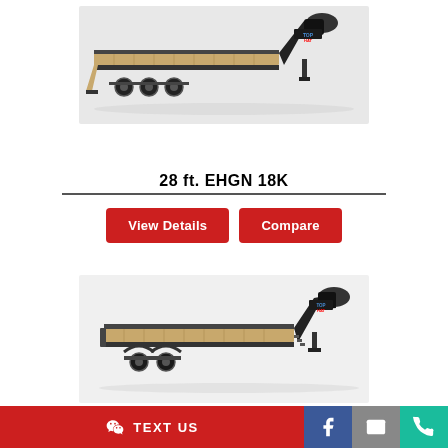[Figure (photo): Black gooseneck flatbed trailer (28 ft. EHGN 18K) with Top Hat branding, shown from side angle with front gooseneck visible, on light grey background]
28 ft. EHGN 18K
View Details
Compare
[Figure (photo): Black gooseneck flatbed trailer, similar model, shown from side angle with gooseneck hitch visible, on white background with Top Hat logo]
TEXT US | Facebook | Email | Phone